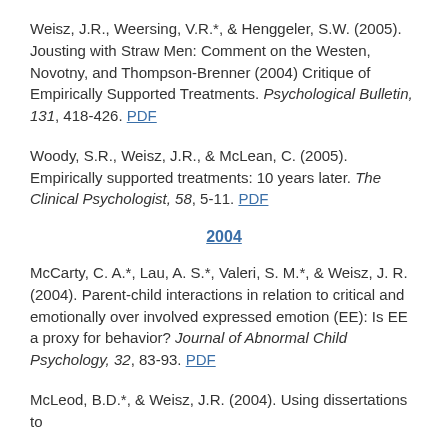Weisz, J.R., Weersing, V.R.*, & Henggeler, S.W. (2005). Jousting with Straw Men: Comment on the Westen, Novotny, and Thompson-Brenner (2004) Critique of Empirically Supported Treatments. Psychological Bulletin, 131, 418-426. PDF
Woody, S.R., Weisz, J.R., & McLean, C. (2005). Empirically supported treatments: 10 years later. The Clinical Psychologist, 58, 5-11. PDF
2004
McCarty, C. A.*, Lau, A. S.*, Valeri, S. M.*, & Weisz, J. R. (2004). Parent-child interactions in relation to critical and emotionally over involved expressed emotion (EE): Is EE a proxy for behavior? Journal of Abnormal Child Psychology, 32, 83-93. PDF
McLeod, B.D.*, & Weisz, J.R. (2004). Using dissertations to